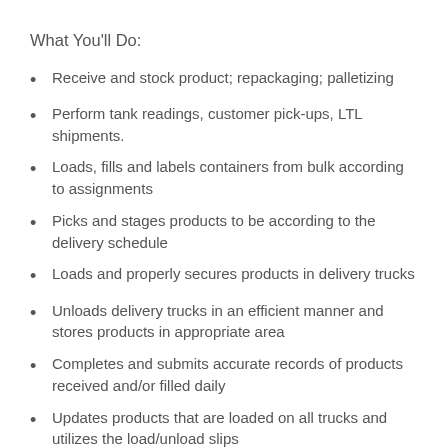What You'll Do:
Receive and stock product; repackaging; palletizing
Perform tank readings, customer pick-ups, LTL shipments.
Loads, fills and labels containers from bulk according to assignments
Picks and stages products to be according to the delivery schedule
Loads and properly secures products in delivery trucks
Unloads delivery trucks in an efficient manner and stores products in appropriate area
Completes and submits accurate records of products received and/or filled daily
Updates products that are loaded on all trucks and utilizes the load/unload slips
Retrieves and submits packing slips for products received
Operates forklift, hand truck, pallet and electric jack as needed
Maintains warehouse area and safety reports